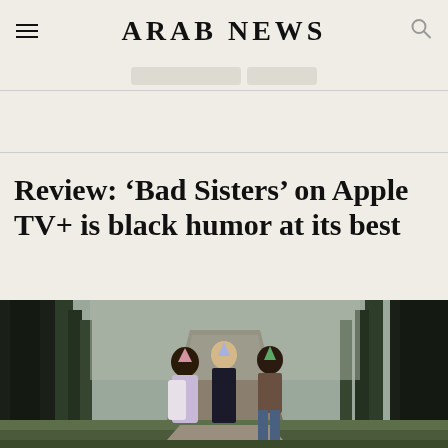ARAB NEWS
Review: ‘Bad Sisters’ on Apple TV+ is black humor at its best
[Figure (photo): Three women wearing party hats walking down a forest path, from the TV show Bad Sisters]